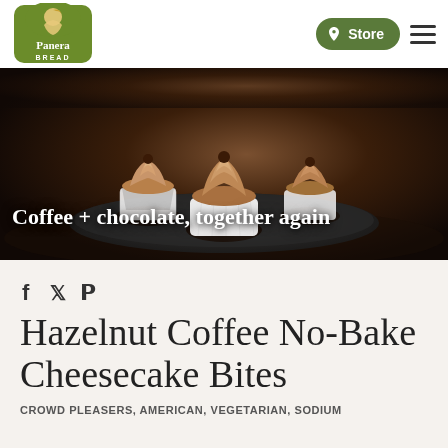[Figure (logo): Panera Bread logo — green arch-shaped badge with illustrated woman figure and 'Panera BREAD' text in white]
Store
[Figure (photo): Three chocolate cupcakes with mocha swirl frosting on a dark plate against a dark background]
Coffee + chocolate, together again
[Figure (illustration): Social share icons: Facebook (f), Twitter (bird), Pinterest (P)]
Hazelnut Coffee No-Bake Cheesecake Bites
CROWD PLEASERS, AMERICAN, VEGETARIAN, SODIUM